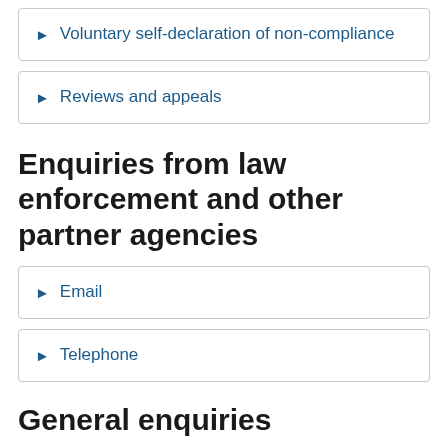Voluntary self-declaration of non-compliance
Reviews and appeals
Enquiries from law enforcement and other partner agencies
Email
Telephone
General enquiries